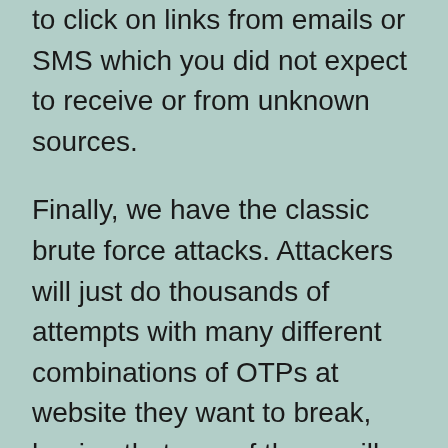to click on links from emails or SMS which you did not expect to receive or from unknown sources.
Finally, we have the classic brute force attacks. Attackers will just do thousands of attempts with many different combinations of OTPs at website they want to break, hoping that one of those will be a valid OTP. This is beyond our control, but the website administrators can protect themselves better by rate limiting: Controlling the amount of attempts allowed in a period of time. We have this feature in GetOTP through the usage of Captcha, and if website